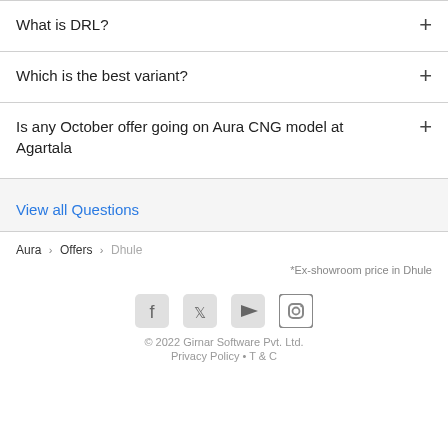What is DRL?
Which is the best variant?
Is any October offer going on Aura CNG model at Agartala
View all Questions
Aura > Offers > Dhule
*Ex-showroom price in Dhule
© 2022 Girnar Software Pvt. Ltd.
Privacy Policy • T & C